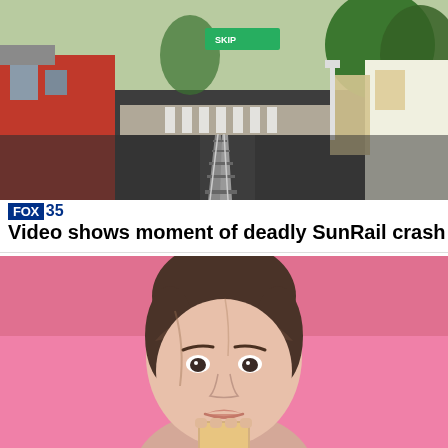[Figure (photo): Train track perspective view showing railroad crossing with red building on left, green sign, crossing stripes, trees and commercial buildings in background under overcast sky]
FOX 35
Video shows moment of deadly SunRail crash
[Figure (photo): Close-up portrait of a young woman with brown hair in an updo with bangs, smiling slightly, holding a small yellow square object, against a bright pink background]